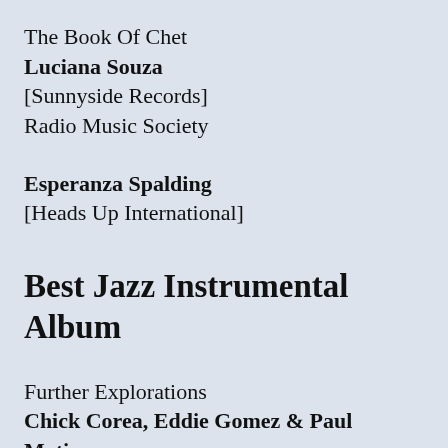The Book Of Chet
Luciana Souza
[Sunnyside Records]
Radio Music Society
Esperanza Spalding
[Heads Up International]
Best Jazz Instrumental Album
Further Explorations
Chick Corea, Eddie Gomez & Paul Motian
[Concord Jazz]
Hot House
Chick Corea & Gary Burton